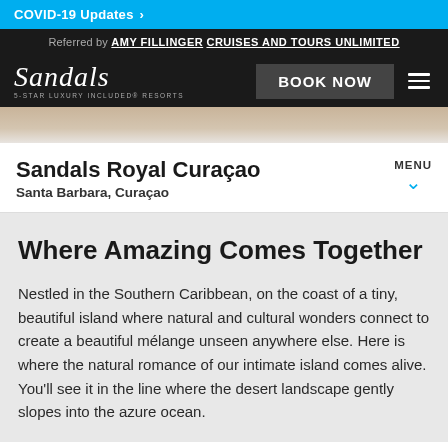COVID-19 Updates >
Referred by AMY FILLINGER CRUISES AND TOURS UNLIMITED
[Figure (logo): Sandals logo with text 'Sandals' in italic script and '5-STAR LUXURY INCLUDED RESORTS' below. BOOK NOW button and hamburger menu to the right.]
[Figure (photo): Thin decorative image strip showing blurred warm-toned background of resort setting.]
Sandals Royal Curaçao
Santa Barbara, Curaçao
Where Amazing Comes Together
Nestled in the Southern Caribbean, on the coast of a tiny, beautiful island where natural and cultural wonders connect to create a beautiful mélange unseen anywhere else. Here is where the natural romance of our intimate island comes alive. You'll see it in the line where the desert landscape gently slopes into the azure ocean.